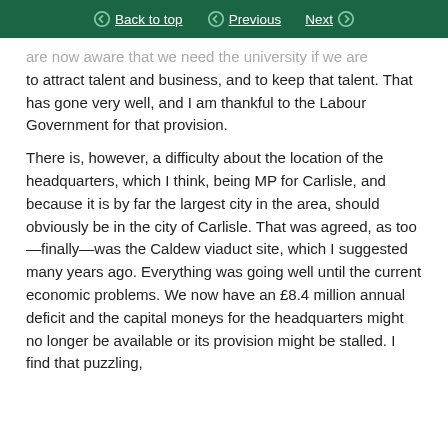Back to top | Previous | Next
are now aware that we need the university if we are to attract talent and business, and to keep that talent. That has gone very well, and I am thankful to the Labour Government for that provision.
There is, however, a difficulty about the location of the headquarters, which I think, being MP for Carlisle, and because it is by far the largest city in the area, should obviously be in the city of Carlisle. That was agreed, as too—finally—was the Caldew viaduct site, which I suggested many years ago. Everything was going well until the current economic problems. We now have an £8.4 million annual deficit and the capital moneys for the headquarters might no longer be available or its provision might be stalled. I find that puzzling, because from experience on the railways...